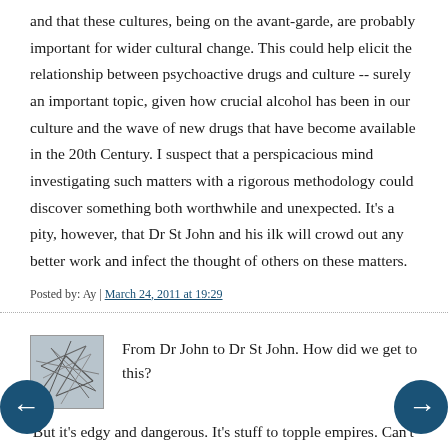and that these cultures, being on the avant-garde, are probably important for wider cultural change. This could help elicit the relationship between psychoactive drugs and culture -- surely an important topic, given how crucial alcohol has been in our culture and the wave of new drugs that have become available in the 20th Century. I suspect that a perspicacious mind investigating such matters with a rigorous methodology could discover something both worthwhile and unexpected. It's a pity, however, that Dr St John and his ilk will crowd out any better work and infect the thought of others on these matters.
Posted by: Ay | March 24, 2011 at 19:29
[Figure (illustration): Abstract scribble/network avatar image for commenter]
From Dr John to Dr St John. How did we get to this?
'But it's edgy and dangerous. It's stuff to topple empires. Can't you see?'